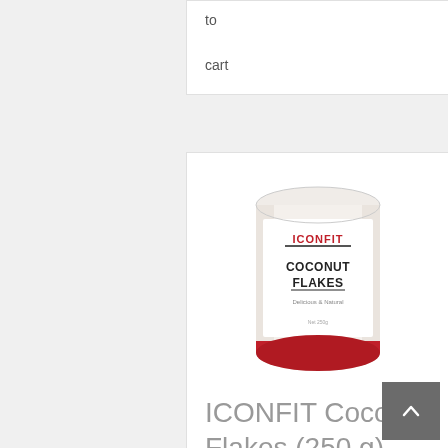to
cart
[Figure (photo): ICONFIT Coconut Flakes 250g product can with white label, red accent at bottom, ICONFIT logo in red and grey at top]
ICONFIT Coconut Flakes (250 g)
€2.40